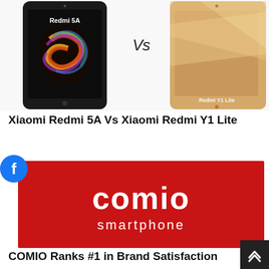[Figure (photo): Xiaomi Redmi 5A smartphone on the left, 'Vs' text in the middle, and Xiaomi Redmi Y1 Lite smartphone on the right, comparison image]
Xiaomi Redmi 5A Vs Xiaomi Redmi Y1 Lite
[Figure (logo): COMIO smartphone brand logo on a red background with white text 'comio' and 'smartphone' below]
COMIO Ranks #1 in Brand Satisfaction